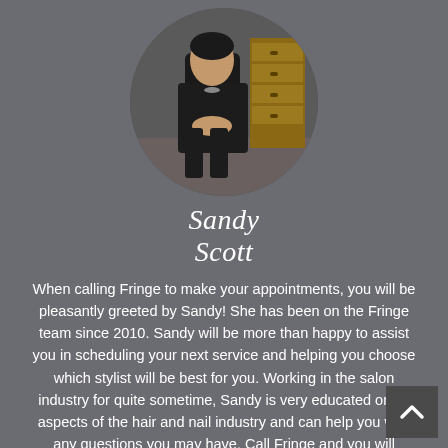[Figure (photo): Circular cropped photo of Sandy Scott, a woman seated in a salon chair wearing dark clothing, with a wooden drawer unit visible in the background.]
Sandy Scott
When calling Fringe to make your appointments, you will be pleasantly greeted by Sandy! She has been on the Fringe team since 2010. Sandy will be more than happy to assist you in scheduling your next service and helping you choose which stylist will be best for you. Working in the salon industry for quite sometime, Sandy is very educated on all aspects of the hair and nail industry and can help you with any questions you may have. Call Fringe and you will receive the highest quality of service!